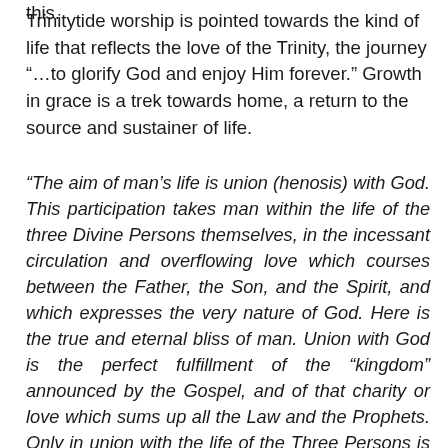Trinitytide worship is pointed towards the kind of life that reflects the love of the Trinity, the journey “…to glorify God and enjoy Him forever.” Growth in grace is a trek towards home, a return to the source and sustainer of life.
“The aim of man’s life is union (henosis) with God. This participation takes man within the life of the three Divine Persons themselves, in the incessant circulation and overflowing love which courses between the Father, the Son, and the Spirit, and which expresses the very nature of God. Here is the true and eternal bliss of man. Union with God is the perfect fulfillment of the “kingdom” announced by the Gospel, and of that charity or love which sums up all the Law and the Prophets. Only in union with the life of the Three Persons is man enabled to love God with his whole heart, and his neighbour as himself.